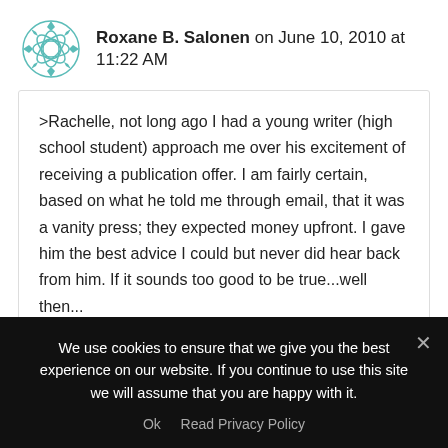Roxane B. Salonen on June 10, 2010 at 11:22 AM
>Rachelle, not long ago I had a young writer (high school student) approach me over his excitement of receiving a publication offer. I am fairly certain, based on what he told me through email, that it was a vanity press; they expected money upfront. I gave him the best advice I could but never did hear back from him. If it sounds too good to be true...well then...

That said, I got burned once myself, not through money
We use cookies to ensure that we give you the best experience on our website. If you continue to use this site we will assume that you are happy with it.
Ok   Read Privacy Policy